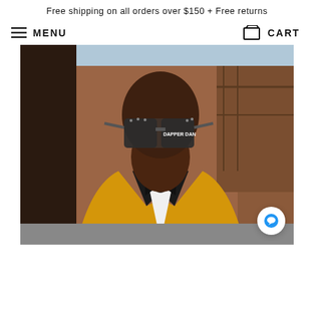Free shipping on all orders over $150 + Free returns
MENU
CART
[Figure (photo): A well-dressed man wearing large bejeweled sunglasses labeled 'DAPPER DAN', a yellow/gold tuxedo jacket with black lapels, white dress shirt, and black bow tie, photographed outdoors against a brownstone building backdrop.]